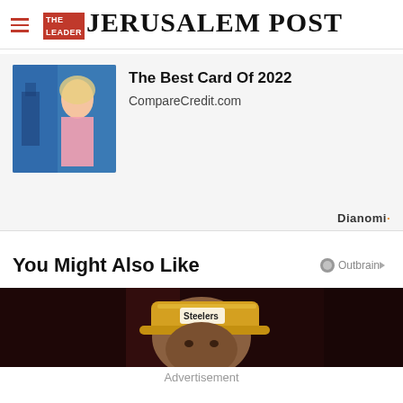THE JERUSALEM POST
[Figure (photo): Advertisement banner with woman at gas pump and text 'The Best Card Of 2022' from CompareCredit.com, with Dianomi branding]
You Might Also Like
[Figure (photo): Photo of young man wearing a yellow Pittsburgh Steelers cap against a dark background]
Advertisement